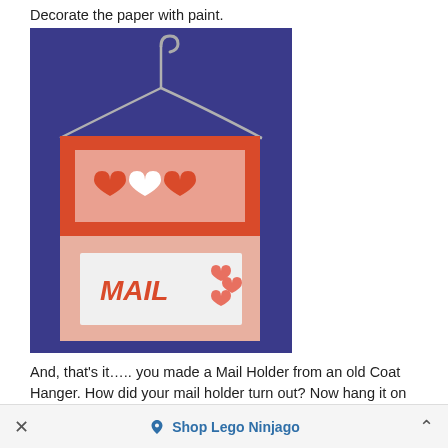Decorate the paper with paint.
[Figure (photo): A craft mail holder made from pink paper decorated with red hearts and the word MAIL, hung on a silver wire coat hanger against a blue background.]
And, that's it….. you made a Mail Holder from an old Coat Hanger. How did your mail holder turn out? Now hang it on
Shop Lego Ninjago